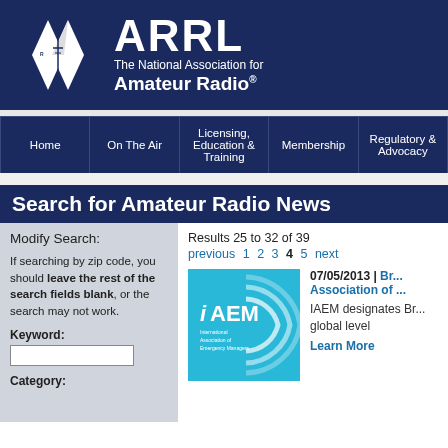[Figure (logo): ARRL logo with diamond shapes and text 'ARRL The National Association for Amateur Radio']
ARRL The National Association for Amateur Radio
Home | On The Air | Licensing, Education & Training | Membership | Regulatory & Advocacy
Search for Amateur Radio News
Modify Search:
If searching by zip code, you should leave the rest of the search fields blank, or the search may not work.
Keyword:
Category:
Results 25 to 32 of 39
previous 1 2 3 4 5 next
[Figure (logo): IAEM - International Association of Emergency Managers logo on teal background]
07/05/2013 | Br... Association of ...
IAEM designates Br... global level
Learn More